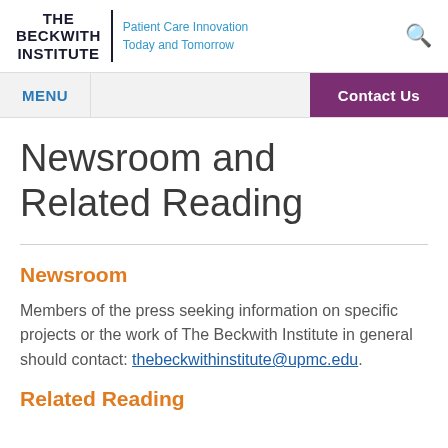THE BECKWITH INSTITUTE | Patient Care Innovation Today and Tomorrow
MENU | Contact Us
Newsroom and Related Reading
Newsroom
Members of the press seeking information on specific projects or the work of The Beckwith Institute in general should contact: thebeckwithinstitute@upmc.edu.
Related Reading